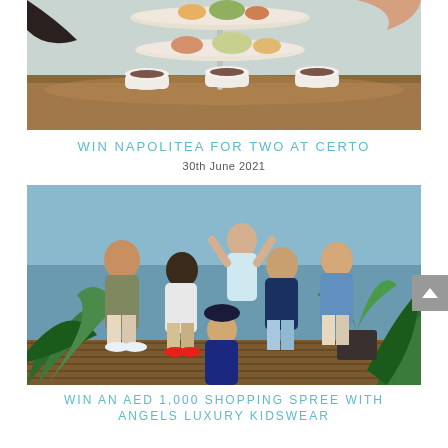[Figure (photo): Overhead view of a tiered afternoon tea stand with food and teacups on a wooden table, being served by hands]
WIN NAPOLITEA FOR TWO AT CERTO
30th June 2021
[Figure (photo): Group of children posing outdoors surrounded by tropical plants, wearing colorful summer clothing]
WIN AN AED 1,000 SHOPPING SPREE WITH ANGELS LUXURY KIDSWEAR